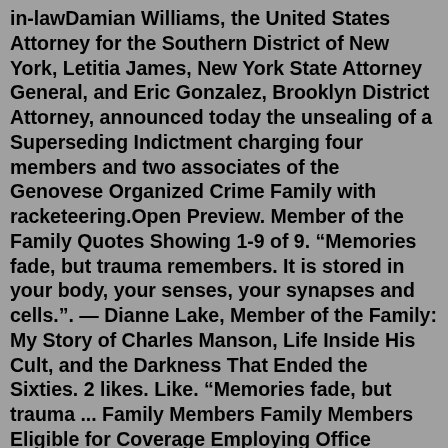in-lawDamian Williams, the United States Attorney for the Southern District of New York, Letitia James, New York State Attorney General, and Eric Gonzalez, Brooklyn District Attorney, announced today the unsealing of a Superseding Indictment charging four members and two associates of the Genovese Organized Crime Family with racketeering.Open Preview. Member of the Family Quotes Showing 1-9 of 9. “Memories fade, but trauma remembers. It is stored in your body, your senses, your synapses and cells.”. — Dianne Lake, Member of the Family: My Story of Charles Manson, Life Inside His Cult, and the Darkness That Ended the Sixties. 2 likes. Like. “Memories fade, but trauma ... Family Members Family Members Eligible for Coverage Employing Office Responsibilities. Your employing office is responsible for making decisions about whether a family member is eligible for coverage. If the carrier of your health benefits plan has any questions about whether someone is an eligible family member, it may